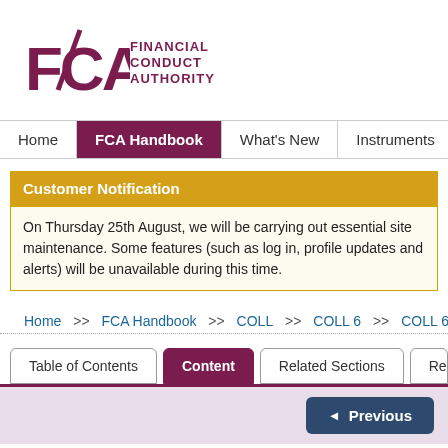[Figure (logo): FCA Financial Conduct Authority logo with purple geometric F, C, A letters and text]
Home | FCA Handbook | What's New | Instruments | Forms | G
Customer Notification
On Thursday 25th August, we will be carrying out essential site main... features (such as log in, profile updates and alerts) will be unavailab...
Home >> FCA Handbook >> COLL >> COLL 6 >> COLL 6.10 Se
Table of Contents | Content | Related Sections | Relate
Previous